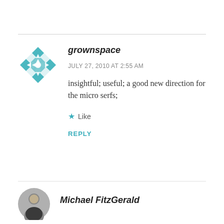[Figure (illustration): Teal geometric cross/snowflake avatar for user grownspace]
grownspace
JULY 27, 2010 AT 2:55 AM
insightful; useful; a good new direction for the micro serfs;
★ Like
REPLY
[Figure (photo): Circular photo avatar of Michael FitzGerald]
Michael FitzGerald